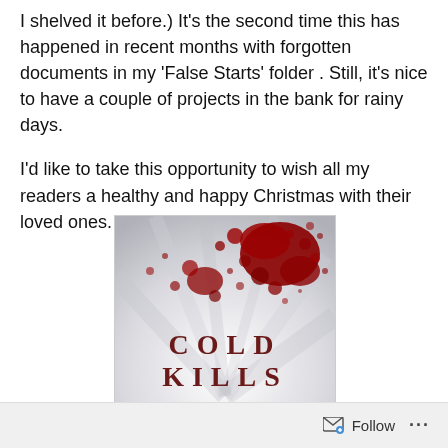I shelved it before.) It's the second time this has happened in recent months with forgotten documents in my 'False Starts' folder . Still, it's nice to have a couple of projects in the bank for rainy days.

I'd like to take this opportunity to wish all my readers a healthy and happy Christmas with their loved ones.
[Figure (illustration): Book cover for 'Cold Kills' by Oliver Tidy — white background with red blood splatter at top, large red and dark lettering reading COLD KILLS, and author name OLIVER TIDY at bottom]
Follow ···